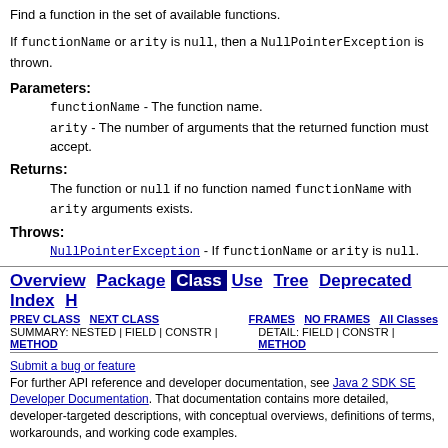Find a function in the set of available functions.
If functionName or arity is null, then a NullPointerException is thrown.
Parameters:
functionName - The function name.
arity - The number of arguments that the returned function must accept.
Returns:
The function or null if no function named functionName with arity arguments exists.
Throws:
NullPointerException - If functionName or arity is null.
Overview Package Class Use Tree Deprecated Index | PREV CLASS NEXT CLASS FRAMES NO FRAMES All Classes SUMMARY: NESTED | FIELD | CONSTR | METHOD DETAIL: FIELD | CONSTR | METHOD
Submit a bug or feature
For further API reference and developer documentation, see Java 2 SDK SE Developer Documentation. That documentation contains more detailed, developer-targeted descriptions, with conceptual overviews, definitions of terms, workarounds, and working code examples.